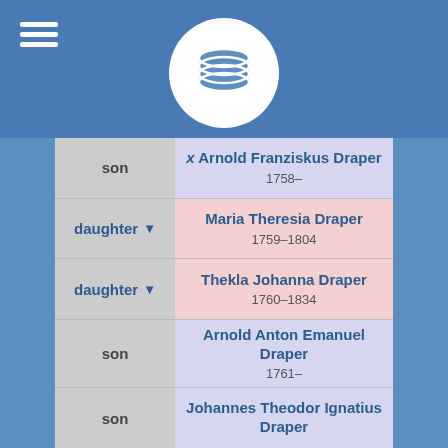[Figure (screenshot): Genealogy database app header with hamburger menu and database logo circle]
| Relation | Person |
| --- | --- |
| son | x Arnold Franziskus Draper
1758– |
| daughter | Maria Theresia Draper
1759–1804 |
| daughter | Thekla Johanna Draper
1760–1834 |
| son | Arnold Anton Emanuel Draper
1761– |
| son | Johannes Theodor Ignatius Draper
1761– |